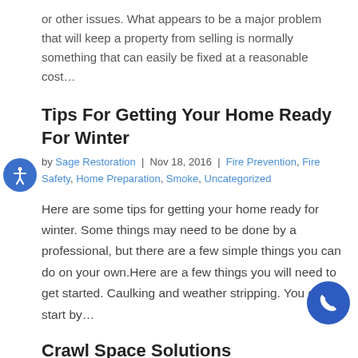or other issues. What appears to be a major problem that will keep a property from selling is normally something that can easily be fixed at a reasonable cost…
Tips For Getting Your Home Ready For Winter
by Sage Restoration | Nov 18, 2016 | Fire Prevention, Fire Safety, Home Preparation, Smoke, Uncategorized
Here are some tips for getting your home ready for winter. Some things may need to be done by a professional, but there are a few simple things you can do on your own.Here are a few things you will need to get started. Caulking and weather stripping. You can start by…
Crawl Space Solutions